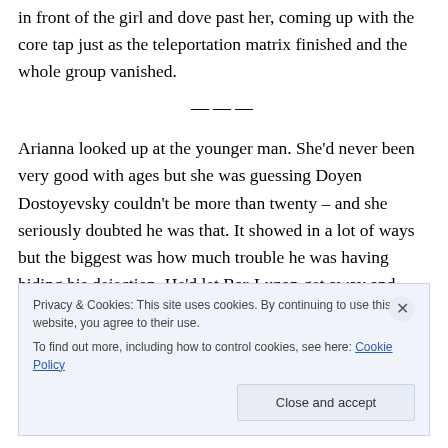in front of the girl and dove past her, coming up with the core tap just as the teleportation matrix finished and the whole group vanished.
Arianna looked up at the younger man. She'd never been very good with ages but she was guessing Doyen Dostoyevsky couldn't be more than twenty – and she seriously doubted he was that. It showed in a lot of ways but the biggest was how much trouble he was having hiding his dejection. He'd let Bar-Luzon get away and
Privacy & Cookies: This site uses cookies. By continuing to use this website, you agree to their use.
To find out more, including how to control cookies, see here: Cookie Policy